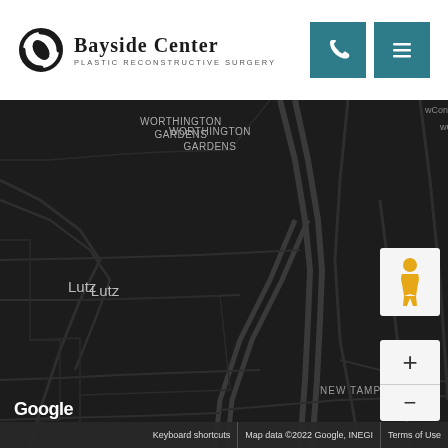[Figure (logo): Bayside Center Plastic Reconstructive Surgery logo with circular icon and text]
[Figure (map): Dark-themed Google Map showing areas including Worthington Gardens, Lutz, Pebble (partially visible), and New Tampa. Map controls include street view pegman and zoom +/- buttons. Google branding at bottom left. Map data ©2022 Google, INEGI.]